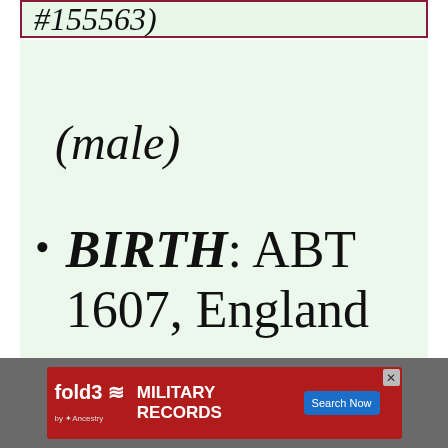#155563)
(male)
BIRTH: ABT 1607, England
[Figure (screenshot): fold3 by Ancestry advertisement banner for Military Records with Search Now button and close X]